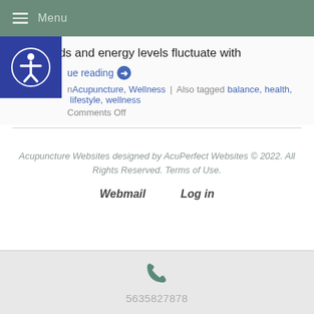Menu
Our moods and energy levels fluctuate with
Continue reading →
Acupuncture, Wellness | Also tagged balance, health, lifestyle, wellness
Comments Off
Acupuncture Websites designed by AcuPerfect Websites © 2022. All Rights Reserved. Terms of Use.
Webmail   Log in
5635827878